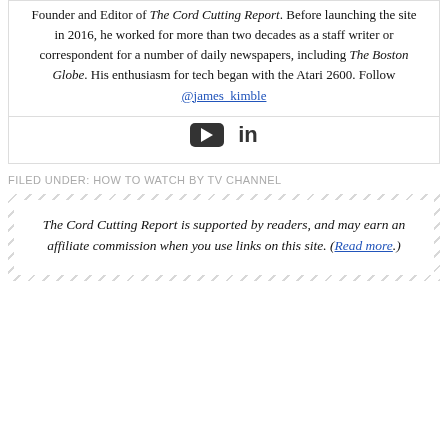Founder and Editor of The Cord Cutting Report. Before launching the site in 2016, he worked for more than two decades as a staff writer or correspondent for a number of daily newspapers, including The Boston Globe. His enthusiasm for tech began with the Atari 2600. Follow @james_kimble
[Figure (other): Social media icons: YouTube and LinkedIn]
FILED UNDER: HOW TO WATCH BY TV CHANNEL
The Cord Cutting Report is supported by readers, and may earn an affiliate commission when you use links on this site. (Read more.)